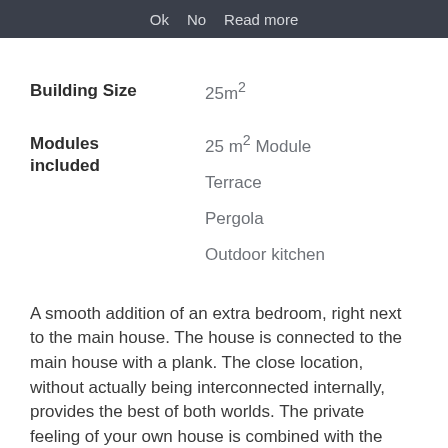Ok   No   Read more
Building Size	25m²
Modules included	25 m² Module
Terrace
Pergola
Outdoor kitchen
A smooth addition of an extra bedroom, right next to the main house. The house is connected to the main house with a plank. The close location, without actually being interconnected internally, provides the best of both worlds. The private feeling of your own house is combined with the simple transition to